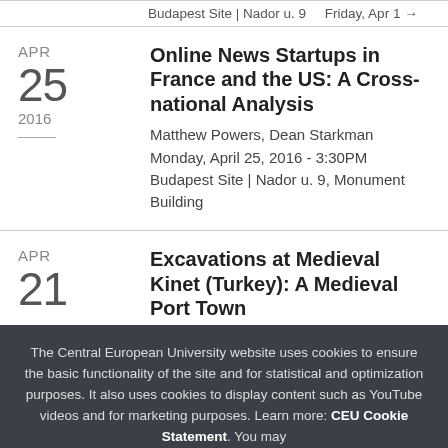Budapest Site | Nador u. 9
Online News Startups in France and the US: A Cross-national Analysis
Matthew Powers, Dean Starkman
Monday, April 25, 2016 - 3:30PM
Budapest Site | Nador u. 9, Monument Building
Excavations at Medieval Kinet (Turkey): A Medieval Port Town
The Central European University website uses cookies to ensure the basic functionality of the site and for statistical and optimization purposes. It also uses cookies to display content such as YouTube videos and for marketing purposes. Learn more: CEU Cookie Statement. You may